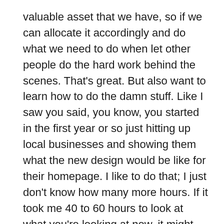valuable asset that we have, so if we can allocate it accordingly and do what we need to do when let other people do the hard work behind the scenes. That's great. But also want to learn how to do the damn stuff. Like I saw you said, you know, you started in the first year or so just hitting up local businesses and showing them what the new design would be like for their homepage. I like to do that; I just don't know how many more hours. If it took me 40 to 60 hours to look at what you're looking at now, it might take me 20 years to do what it would be on WordPress. So that's why I'm kind of– because I figured Weebly is just drag and drop. I don't even do HTML or any of it, you know?
Patrick: Yeah, so with WordPress, I don't do